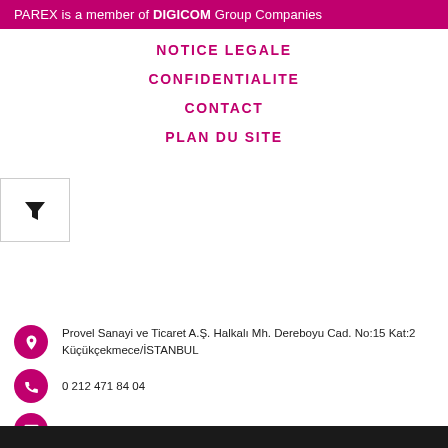PAREX is a member of DIGICOM Group Companies
NOTICE LEGALE
CONFIDENTIALITE
CONTACT
PLAN DU SITE
Provel Sanayi ve Ticaret A.Ş. Halkalı Mh. Dereboyu Cad. No:15 Kat:2 Küçükçekmece/İSTANBUL
0 212 471 84 04
export@parex.com.tr